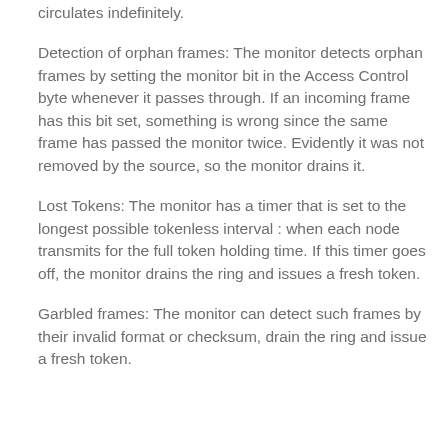circulates indefinitely.
Detection of orphan frames: The monitor detects orphan frames by setting the monitor bit in the Access Control byte whenever it passes through. If an incoming frame has this bit set, something is wrong since the same frame has passed the monitor twice. Evidently it was not removed by the source, so the monitor drains it.
Lost Tokens: The monitor has a timer that is set to the longest possible tokenless interval : when each node transmits for the full token holding time. If this timer goes off, the monitor drains the ring and issues a fresh token.
Garbled frames: The monitor can detect such frames by their invalid format or checksum, drain the ring and issue a fresh token.